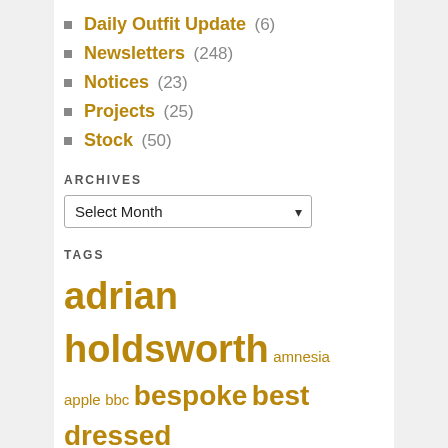Daily Outfit Update (6)
Newsletters (248)
Notices (23)
Projects (25)
Stock (50)
ARCHIVES
Select Month
TAGS
adrian holdsworth amnesia apple bbc bespoke best dressed birkenstocks bologna boris johnson brexit british airways cashmere chelsea christmas coats cork and bottle cotton david david cameron david morales donald trump drogheria della rosa florence